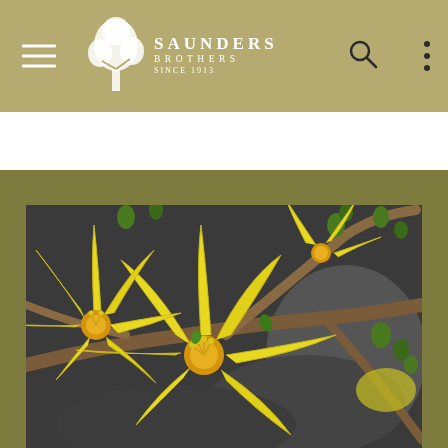Saunders Brothers Since 1913 - Navigation header with hamburger menu, logo, search icon, and more icon
[Figure (photo): Close-up photograph of bright yellow forsythia flowers in bloom on brown woody branches with green buds, against a dark background. The flowers have elongated petals and orange-yellow centers with small stamens.]